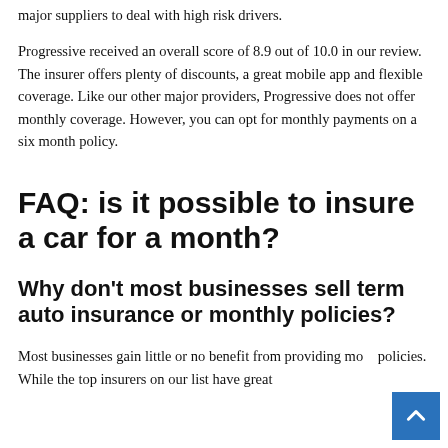major suppliers to deal with high risk drivers. Progressive received an overall score of 8.9 out of 10.0 in our review. The insurer offers plenty of discounts, a great mobile app and flexible coverage. Like our other major providers, Progressive does not offer monthly coverage. However, you can opt for monthly payments on a six month policy.
FAQ: is it possible to insure a car for a month?
Why don't most businesses sell term auto insurance or monthly policies?
Most businesses gain little or no benefit from providing mo... policies. While the top insurers on our list have great